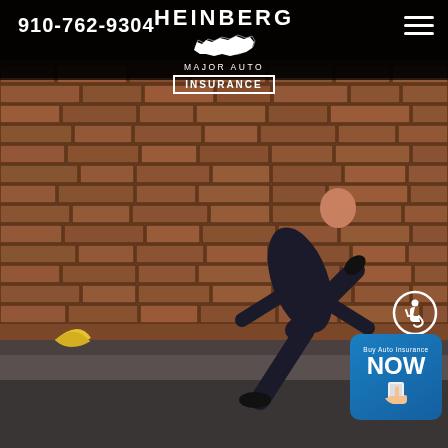910-762-9304
HEINBERG MAJOR AUTO INSURANCE
[Figure (photo): Man in dark suit slipping on a banana peel against a brick wall background, with legs in the air, photographed outdoors.]
[Figure (logo): Accessibility icon - wheelchair symbol in a circle, white on transparent, bottom right area]
[Figure (infographic): Buy Auto Insurance NOW badge - blue rounded rectangle with text 'Buy Auto Insurance NOW' and a phone/hand icon]